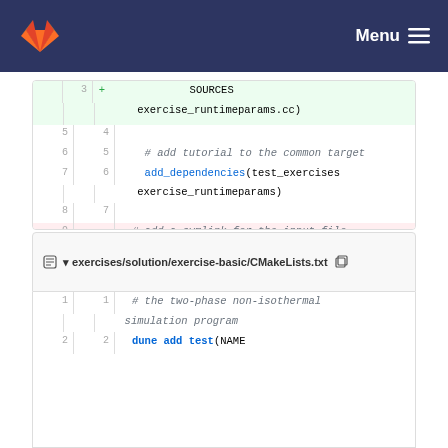Menu
[Figure (screenshot): GitLab diff view showing CMakeLists.txt changes: lines 3-11 showing SOURCES, exercise_runtimeparams.cc, add_dependencies, dune_symlink_to_source_files removed and add_input_file_links added]
exercises/solution/exercise-basic/CMakeLists.txt
[Figure (screenshot): GitLab diff view showing CMakeLists.txt lines 1-2: # the two-phase non-isothermal simulation program, dune add test(NAME]